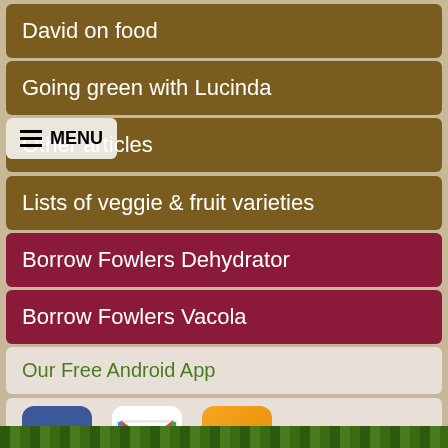David on food
Going green with Lucinda
Other articles
Lists of veggie & fruit varieties
Borrow Fowlers Dehydrator
Borrow Fowlers Vacola
Our Free Android App
[Figure (logo): Social media icons: Facebook, Gmail/email, RSS feed]
© Local Food Connect | Local Food Connect acknowledges the Wurundjeri Woi-wurrung people as traditional custodians of country and pays respect to elders past, present and emerging. We respect the enduring strength of the First Nations people and acknowledge their long heritage of agriculture and care for the soils in which our food is now grown. | Suffusion theme by Sayontan Sinha